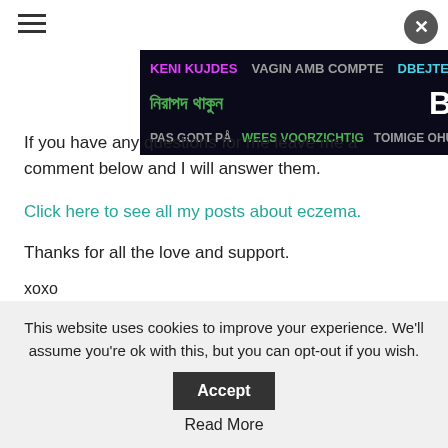[Figure (screenshot): Hamburger menu icon (three horizontal lines) in top-left corner]
[Figure (screenshot): Close/lock button (X in dark circle) in top-right corner]
[Figure (screenshot): Advertisement banner with multilingual 'BE SAFE' text on dark background]
If you have any questions for me leave me a comment below and I will answer them.
Click here to see all my posts about eczema.
Thanks for all the love and support.
xoxo
Michelle
This website uses cookies to improve your experience. We'll assume you're ok with this, but you can opt-out if you wish. Accept Read More